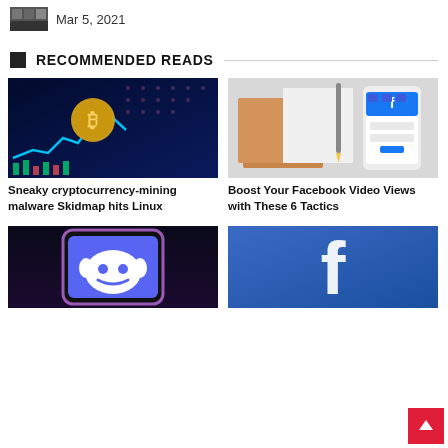Mar 5, 2021
RECOMMENDED READS
[Figure (photo): Bitcoin gold coin floating over a blue stock chart graph on dark background]
Sneaky cryptocurrency-mining malware Skidmap hits Linux
[Figure (photo): Facebook app login screen on smartphone next to notebooks and pencil on light gray background]
Boost Your Facebook Video Views with These 6 Tactics
[Figure (photo): Discord logo app icon on smartphone on dark background]
[Figure (photo): Facebook logo close-up on blue background]